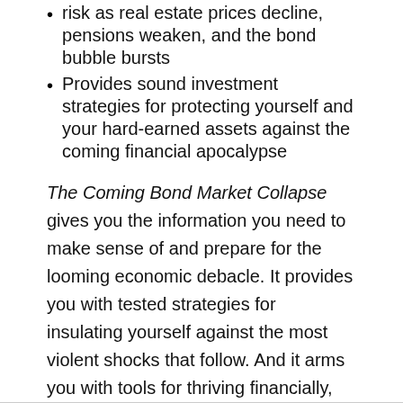risk as real estate prices decline, pensions weaken, and the bond bubble bursts
Provides sound investment strategies for protecting yourself and your hard-earned assets against the coming financial apocalypse
The Coming Bond Market Collapse gives you the information you need to make sense of and prepare for the looming economic debacle. It provides you with tested strategies for insulating yourself against the most violent shocks that follow. And it arms you with tools for thriving financially, even in the midst of what could be a disaster worse than the Great Depression.
[Figure (infographic): Row of five social media sharing icons: Facebook (dark blue), Twitter (light blue), LinkedIn (dark teal), Email (green), Print (grey)]